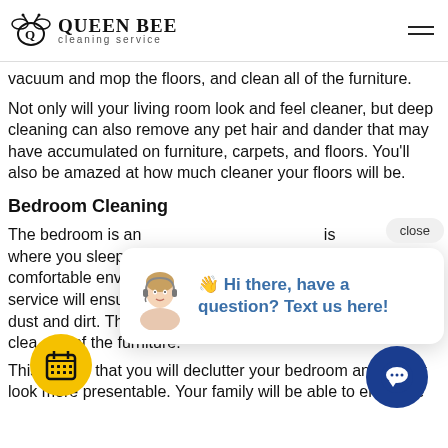QUEEN BEE cleaning service
vacuum and mop the floors, and clean all of the furniture.
Not only will your living room look and feel cleaner, but deep cleaning can also remove any pet hair and dander that may have accumulated on furniture, carpets, and floors. You'll also be amazed at how much cleaner your floors will be.
Bedroom Cleaning
The bedroom is an important room in your home, and is where you sleep, so it is important to have a comfortable environment. A professional cleaning service will ensure that the bedroom is free of dust and dirt. They will also vacuum and mop the floors and clean all of the furniture.
This means that you will declutter your bedroom and make it look more presentable. Your family will be able to enjoy the
[Figure (other): Chat popup overlay with customer service avatar and message: Hi there, have a question? Text us here!]
[Figure (other): Yellow circular calendar/booking button]
[Figure (other): Blue circular chat bubble button]